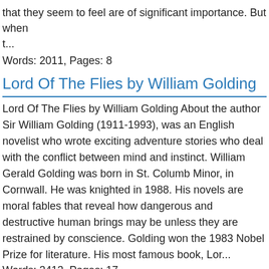that they seem to feel are of significant importance. But when t...
Words: 2011, Pages: 8
Lord Of The Flies by William Golding
Lord Of The Flies by William Golding About the author Sir William Golding (1911-1993), was an English novelist who wrote exciting adventure stories who deal with the conflict between mind and instinct. William Gerald Golding was born in St. Columb Minor, in Cornwall. He was knighted in 1988. His novels are moral fables that reveal how dangerous and destructive human brings may be unless they are restrained by conscience. Golding won the 1983 Nobel Prize for literature. His most famous book, Lor...
Words: 3413, Pages: 17
Louis Armstrong: From Childhood To